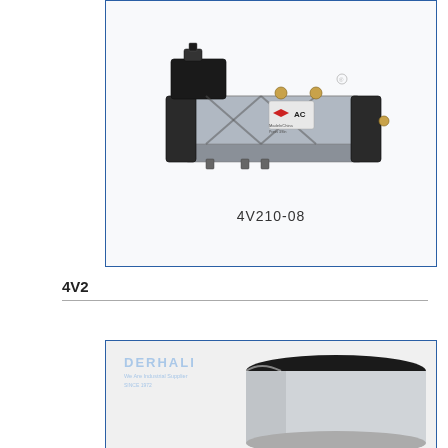[Figure (photo): Solenoid valve component labeled 4V210-08, showing a pneumatic directional control valve with black and metallic body, solenoid actuator on top, and multiple ports. Watermark of AC logo visible.]
4V210-08
4V2
[Figure (photo): Cylindrical actuator or pneumatic cylinder component shown at an angle. Derhali logo watermark visible in upper left of image box.]